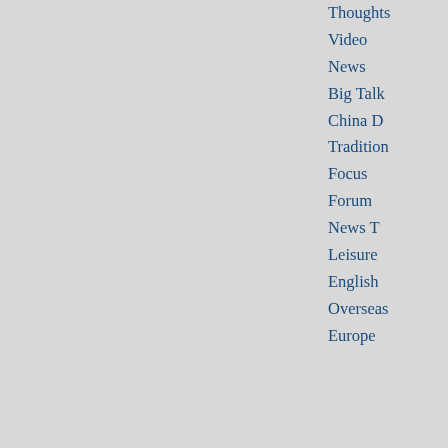Thoughts
Video
News
Big Talk
China D
Tradition
Focus
Forum
News T
Leisure
English
Overseas
Europe
Home / World / Asia-Pacific
Singapore's Changi Airport wins wo... airport